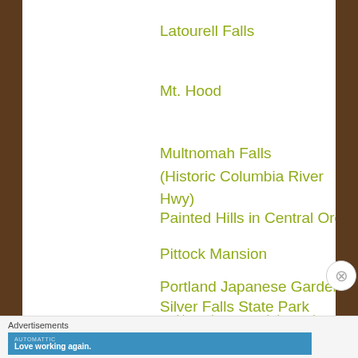Latourell Falls
Mt. Hood
Multnomah Falls (Historic Columbia River Hwy)
Painted Hills in Central Oregon
Pittock Mansion
Portland Japanese Garden
Silver Falls State Park
Smith Rock State Park (Central Oregon)
Virginia
Advertisements
[Figure (screenshot): Automattic advertisement banner: 'Love working again.']